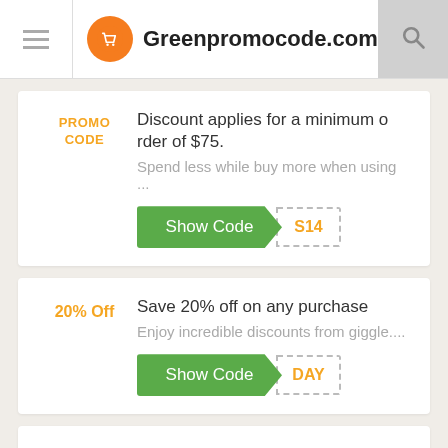Greenpromocode.com
PROMO CODE — Discount applies for a minimum order of $75. Spend less while buy more when using ... Show Code S14
20% Off — Save 20% off on any purchase. Enjoy incredible discounts from giggle.... Show Code DAY
PROMO CODE — Free Standard Shipping on everyt